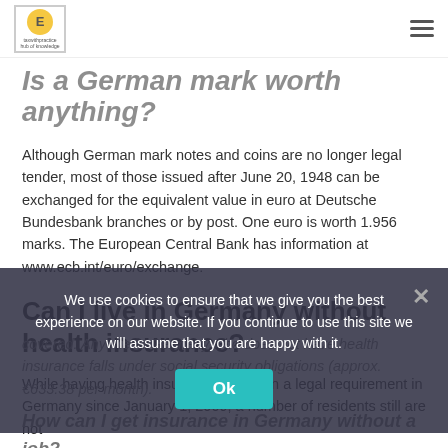taxwithpractice - hub of knowledge
Is a German mark worth anything?
Although German mark notes and coins are no longer legal tender, most of those issued after June 20, 1948 can be exchanged for the equivalent value in euro at Deutsche Bundesbank branches or by post. One euro is worth 1.956 marks. The European Central Bank has information at www.ecb.int/euro/exchange.
Can I live in Germany without health insurance?
While having health insurance has been a legal requirement in Germany since January 1, 2009, a number of residents still are not
covered. Anyone in Germany who does not have health insurance falls under social security obligations (approx. €633.38 per month).
How can I get insurance in Germany without a job?
We use cookies to ensure that we give you the best experience on our website. If you continue to use this site we will assume that you are happy with it.